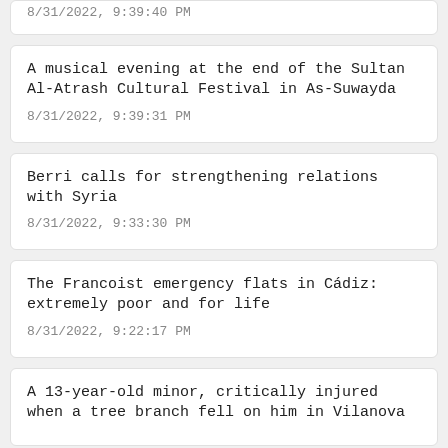8/31/2022, 9:39:40 PM
A musical evening at the end of the Sultan Al-Atrash Cultural Festival in As-Suwayda
8/31/2022, 9:39:31 PM
Berri calls for strengthening relations with Syria
8/31/2022, 9:33:30 PM
The Francoist emergency flats in Cádiz: extremely poor and for life
8/31/2022, 9:22:17 PM
A 13-year-old minor, critically injured when a tree branch fell on him in Vilanova